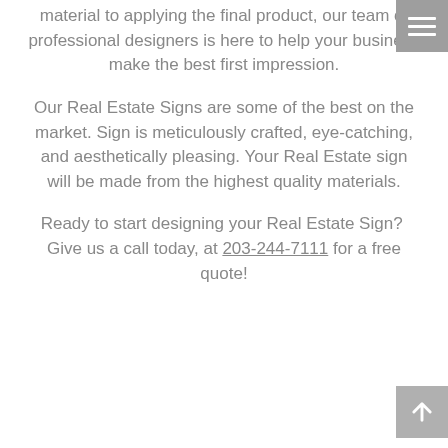material to applying the final product, our team of professional designers is here to help your business make the best first impression.
Our Real Estate Signs are some of the best on the market. Sign is meticulously crafted, eye-catching, and aesthetically pleasing. Your Real Estate sign will be made from the highest quality materials.
Ready to start designing your Real Estate Sign?  Give us a call today, at 203-244-7111 for a free quote!